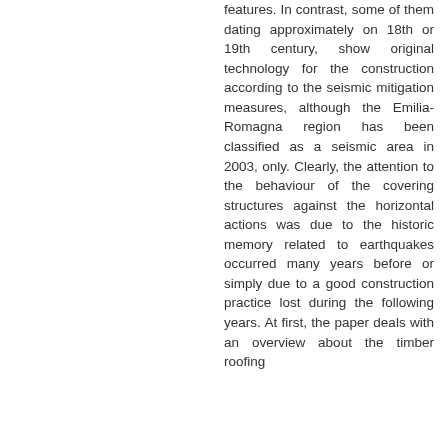features. In contrast, some of them dating approximately on 18th or 19th century, show original technology for the construction according to the seismic mitigation measures, although the Emilia-Romagna region has been classified as a seismic area in 2003, only. Clearly, the attention to the behaviour of the covering structures against the horizontal actions was due to the historic memory related to earthquakes occurred many years before or simply due to a good construction practice lost during the following years. At first, the paper deals with an overview about the timber roofing